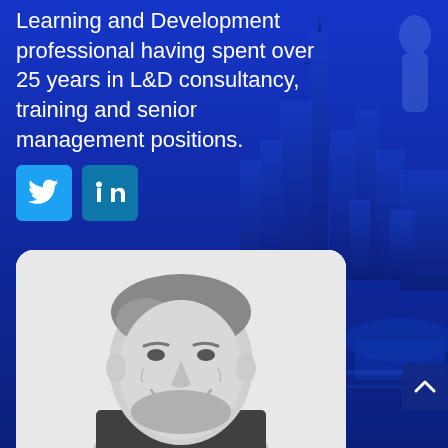Learning and Development professional having spent over 25 years in L&D consultancy, training and senior management positions.
[Figure (illustration): Social media icons: Twitter (light blue) and LinkedIn (dark blue) buttons]
[Figure (photo): Black and white portrait photo of a middle-aged man with grey hair and beard, smiling, shown from roughly chest up]